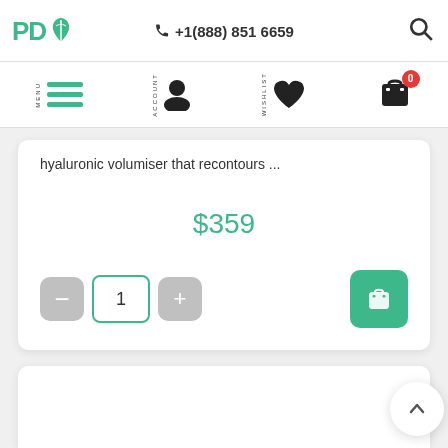PD (logo) | +1(888) 851 6659 | Search
MENU | ACCOUNT | WISHLIST | Cart (0)
hyaluronic volumiser that recontours ...
$359
- 1 + [Add to Cart]
[Figure (other): Empty white product card placeholder]